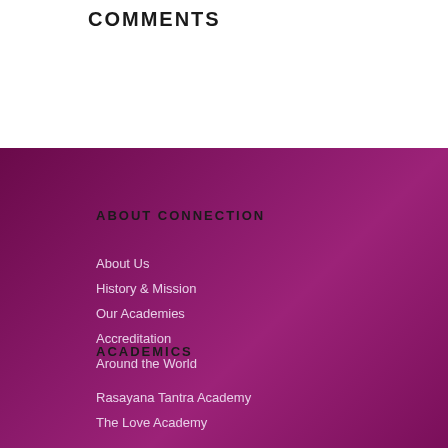COMMENTS
ABOUT CONNECTION
About Us
History & Mission
Our Academies
Accreditation
Around the World
ACADEMICS
Rasayana Tantra Academy
The Love Academy
LEVELS